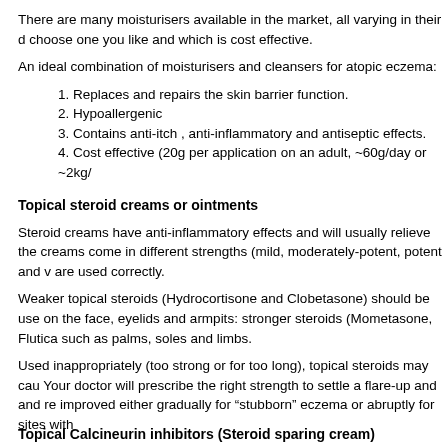There are many moisturisers available in the market, all varying in their d choose one you like and which is cost effective.
An ideal combination of moisturisers and cleansers for atopic eczema:
1. Replaces and repairs the skin barrier function.
2. Hypoallergenic
3. Contains anti-itch , anti-inflammatory and antiseptic effects.
4. Cost effective (20g per application on an adult, ~60g/day or ~2kg/
Topical steroid creams or ointments
Steroid creams have anti-inflammatory effects and will usually relieve the creams come in different strengths (mild, moderately-potent, potent and v are used correctly.
Weaker topical steroids (Hydrocortisone and Clobetasone) should be use on the face, eyelids and armpits: stronger steroids (Mometasone, Flutica such as palms, soles and limbs.
Used inappropriately (too strong or for too long), topical steroids may cau Your doctor will prescribe the right strength to settle a flare-up and and re improved either gradually for “stubborn” eczema or abruptly for sites with
Topical Calcineurin inhibitors (Steroid sparing cream)